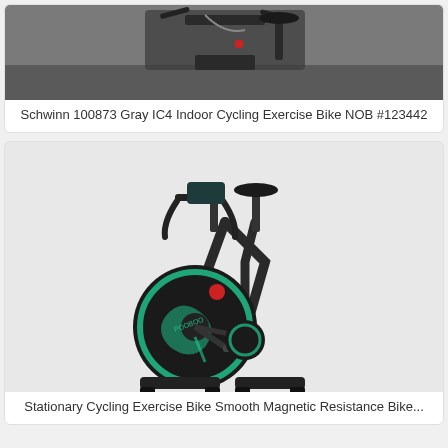[Figure (photo): Schwinn gray IC4 indoor cycling exercise bike shown from above/side angle, partially disassembled or stored, on a gray floor background]
Schwinn 100873 Gray IC4 Indoor Cycling Exercise Bike NOB #123442
[Figure (photo): Stationary cycling exercise bike with smooth magnetic resistance, dark gray/black frame with green/teal accent markings on the flywheel, labeled POOBOO LE-521, shown against white background]
Stationary Cycling Exercise Bike Smooth Magnetic Resistance Bike...